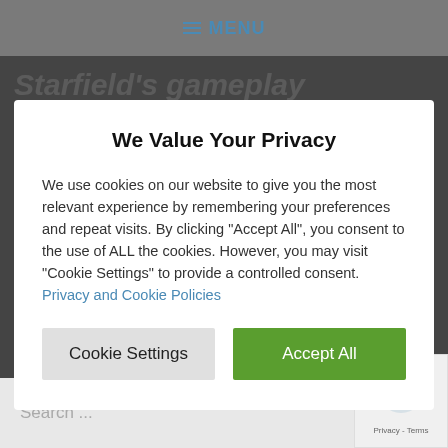≡ MENU
Starfield's gameplay
We Value Your Privacy
We use cookies on our website to give you the most relevant experience by remembering your preferences and repeat visits. By clicking "Accept All", you consent to the use of ALL the cookies. However, you may visit "Cookie Settings" to provide a controlled consent. Privacy and Cookie Policies
Cookie Settings
Accept All
Search ...
[Figure (logo): reCAPTCHA logo with text 'Privacy - Terms']